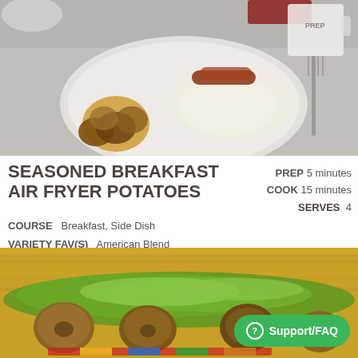[Figure (photo): Breakfast plate with roasted potatoes, fried egg, and sausages on a gray surface with fork and mug in background]
SEASONED BREAKFAST AIR FRYER POTATOES
PREP 5 minutes
COOK 15 minutes
SERVES 4
COURSE  Breakfast, Side Dish
VARIETY FAV(S)  American Blend
[Figure (photo): Small roasted potatoes garnished with fresh green herbs and shredded greens on a colorful plate with wooden background]
Support/FAQ